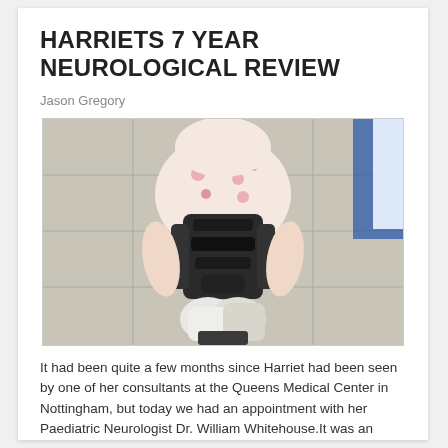HARRIETS 7 YEAR NEUROLOGICAL REVIEW
Jason Gregory
[Figure (photo): Overhead view of a child in a medical/supportive seating device with straps, wearing a floral top and white shorts/cast, on a tiled floor in a clinical setting.]
It had been quite a few months since Harriet had been seen by one of her consultants at the Queens Medical Center in Nottingham, but today we had an appointment with her Paediatric Neurologist Dr. William Whitehouse.It was an early appointment in Nottingham, which meant Harriet had to get ready an...